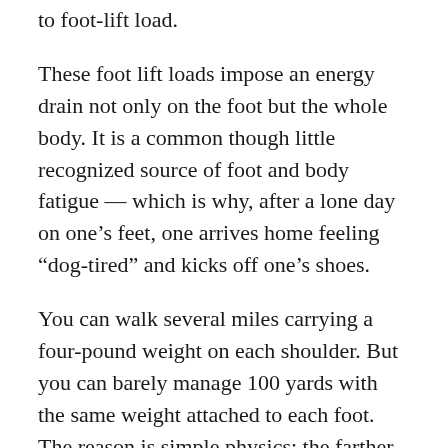to foot-lift load.
These foot lift loads impose an energy drain not only on the foot but the whole body. It is a common though little recognized source of foot and body fatigue — which is why, after a lone day on one’s feet, one arrives home feeling “dog-tired” and kicks off one’s shoes.
You can walk several miles carrying a four-pound weight on each shoulder. But you can barely manage 100 yards with the same weight attached to each foot. The reason is simple physics: the farther the load from the center of gravity, the heavier the energy and “lift” strain.